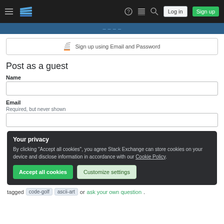Stack Exchange navigation bar with hamburger menu, logo, help, chat, search icons, Log in and Sign up buttons
Sign up using Email and Password
Post as a guest
Name
Email
Required, but never shown
Your privacy
By clicking "Accept all cookies", you agree Stack Exchange can store cookies on your device and disclose information in accordance with our Cookie Policy.
Accept all cookies
Customize settings
tagged code-golf ascii-art or ask your own question.